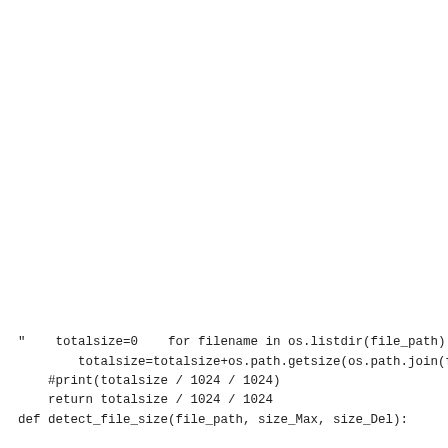"    totalsize=0    for filename in os.listdir(file_path):
        totalsize=totalsize+os.path.getsize(os.path.join(file_path, filena
    #print(totalsize / 1024 / 1024)
    return totalsize / 1024 / 1024
def detect_file_size(file_path, size_Max, size_Del):        " " "